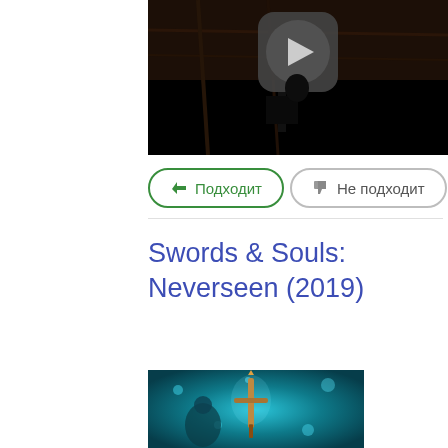[Figure (screenshot): Dark video thumbnail showing a dimly lit scene with a circular play button icon overlay on a wooden/dark background]
Подходит
Не подходит
Swords & Souls: Neverseen (2019)
[Figure (illustration): Game cover art for Swords & Souls: Neverseen showing a fantasy sword and characters in a teal/blue mystical environment]